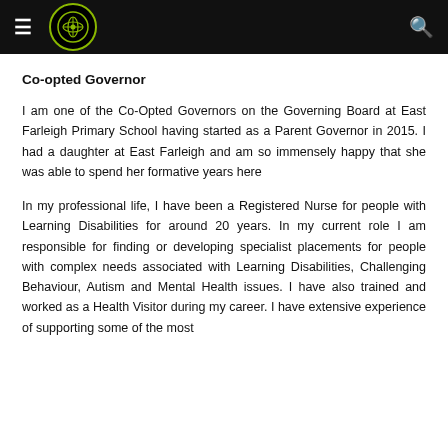Co-opted Governor — East Farleigh Primary School
Co-opted Governor
I am one of the Co-Opted Governors on the Governing Board at East Farleigh Primary School having started as a Parent Governor in 2015. I had a daughter at East Farleigh and am so immensely happy that she was able to spend her formative years here
In my professional life, I have been a Registered Nurse for people with Learning Disabilities for around 20 years. In my current role I am responsible for finding or developing specialist placements for people with complex needs associated with Learning Disabilities, Challenging Behaviour, Autism and Mental Health issues. I have also trained and worked as a Health Visitor during my career. I have extensive experience of supporting some of the most